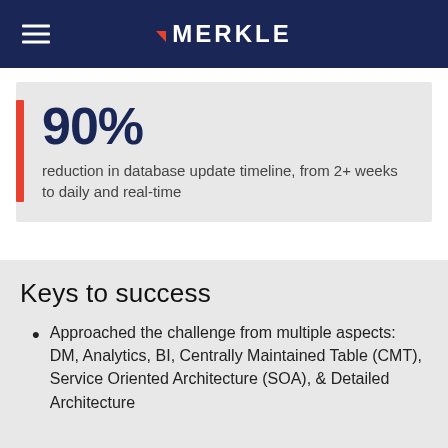MERKLE
90%
reduction in database update timeline, from 2+ weeks to daily and real-time
Keys to success
Approached the challenge from multiple aspects: DM, Analytics, BI, Centrally Maintained Table (CMT), Service Oriented Architecture (SOA), & Detailed Architecture